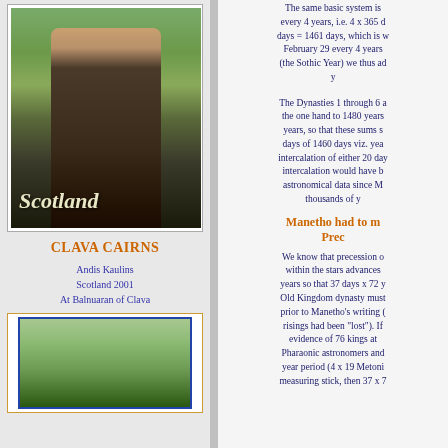[Figure (photo): Man standing outdoors at Clava Cairns Scotland with 'Scotland' text overlay]
CLAVA CAIRNS
Andis Kaulins
Scotland 2001
At Balnuaran of Clava
[Figure (photo): Second photo showing Clava Cairns stone circle from above/aerial view]
The same basic system is every 4 years, i.e. 4 x 365 d days = 1461 days, which is w February 29 every 4 years (the Sothic Year) we thus ad y
The Dynasties 1 through 6 a the one hand to 1480 years years, so that these sums s days of 1460 days viz. yea intercalation of either 20 day intercalation would have b astronomical data since M thousands of y
Manetho had to m Prec
We know that precession o within the stars advances years so that 37 days x 72 y Old Kingdom dynasty must prior to Manetho's writing ( risings had been "lost"). If evidence of 76 kings at Pharaonic astronomers and year period (4 x 19 Metoni measuring stick, then 37 x 7